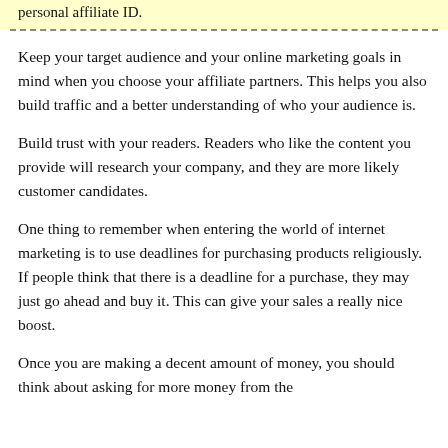personal affiliate ID.
Keep your target audience and your online marketing goals in mind when you choose your affiliate partners. This helps you also build traffic and a better understanding of who your audience is.
Build trust with your readers. Readers who like the content you provide will research your company, and they are more likely customer candidates.
One thing to remember when entering the world of internet marketing is to use deadlines for purchasing products religiously. If people think that there is a deadline for a purchase, they may just go ahead and buy it. This can give your sales a really nice boost.
Once you are making a decent amount of money, you should think about asking for more money from the